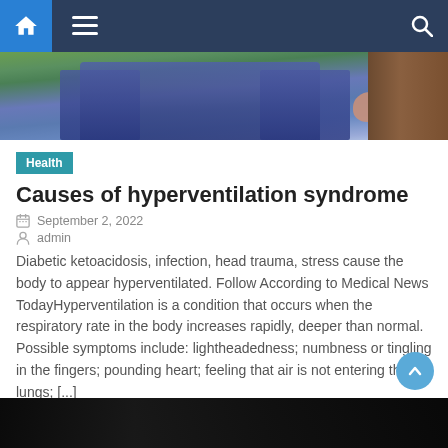Navigation bar with home, menu, and search icons
[Figure (photo): Partial photo of a person sitting outdoors on a bench, wearing blue jeans, green grass in background]
Health
Causes of hyperventilation syndrome
September 2, 2022
admin
Diabetic ketoacidosis, infection, head trauma, stress cause the body to appear hyperventilated. Follow According to Medical News TodayHyperventilation is a condition that occurs when the respiratory rate in the body increases rapidly, deeper than normal. Possible symptoms include: lightheadedness; numbness or tingling in the fingers; pounding heart; feeling that air is not entering the lungs; [...]
[Figure (photo): Partial dark image at bottom of page, likely an article thumbnail]